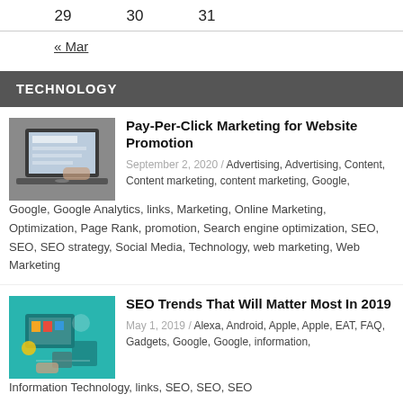29    30    31
« Mar
TECHNOLOGY
[Figure (photo): Person working on a laptop, viewed from the side]
Pay-Per-Click Marketing for Website Promotion
September 2, 2020 / Advertising, Advertising, Content, Content marketing, content marketing, Google, Google, Google Analytics, links, Marketing, Online Marketing, Optimization, Page Rank, promotion, Search engine optimization, SEO, SEO, SEO strategy, Social Media, Technology, web marketing, Web Marketing
[Figure (photo): SEO and technology concept illustration with computer and icons on teal background]
SEO Trends That Will Matter Most In 2019
May 1, 2019 / Alexa, Android, Apple, Apple, EAT, FAQ, Gadgets, Google, Google, information, Information Technology, links, SEO, SEO, SEO